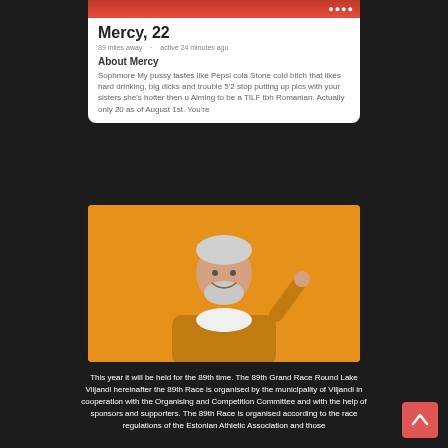[Figure (screenshot): Top portion of a dating app profile photo showing a red background]
Mercy, 22
89 miles away · active 24 minutes ago
About Mercy
Sophmore My pussy tastes like Pepsi cola Stone cold bitch that likes hard drinking, big dicks and trouble 5'2 stop putting up pics with your sisters she's hotter then u Aiming to be a TILF tbh Romanian. Actually only 20 as of August 1st. You're
[Figure (photo): An older man with white hair and beard wearing a yellow/mustard hoodie over white shirt, smiling and making an OK gesture, on an orange/yellow background]
This year it will be held for the 89th time. The 89th Grand Race Round Lake Viljandi hereinafter the 89th Race is organised by the municipality of Viljandi in cooperation with the Organising and Competition Committee and with the help of sponsors and supporters. The 89th Race is organised according to the race regulations of the Estonian Athletic Association and those